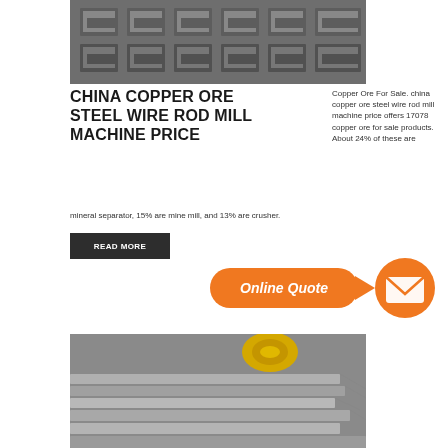[Figure (photo): Stacked steel channel/U-beam sections, gray metallic industrial material]
CHINA COPPER ORE STEEL WIRE ROD MILL MACHINE PRICE
Copper Ore For Sale. china copper ore steel wire rod mill machine price offers 17078 copper ore for sale products. About 24% of these are mineral separator, 15% are mine mill, and 13% are crusher.
[Figure (infographic): Online Quote button (orange pill shape with arrow) and orange circle with envelope/mail icon]
[Figure (photo): Stacked flat steel/aluminum plates with yellow measuring tape or strap on top]